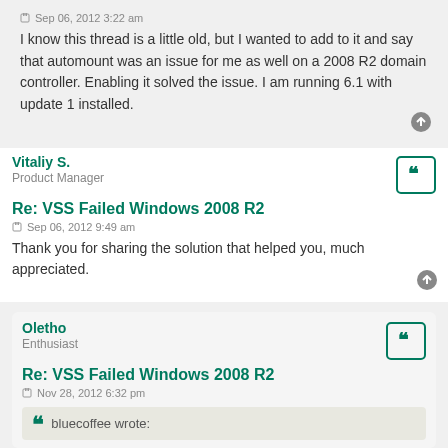Sep 06, 2012 3:22 am
I know this thread is a little old, but I wanted to add to it and say that automount was an issue for me as well on a 2008 R2 domain controller. Enabling it solved the issue. I am running 6.1 with update 1 installed.
Vitaliy S.
Product Manager
Re: VSS Failed Windows 2008 R2
Sep 06, 2012 9:49 am
Thank you for sharing the solution that helped you, much appreciated.
Oletho
Enthusiast
Re: VSS Failed Windows 2008 R2
Nov 28, 2012 6:32 pm
bluecoffee wrote: